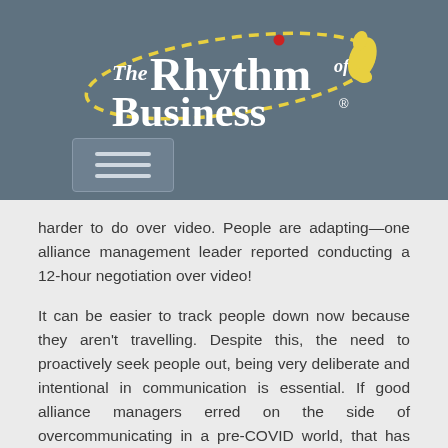[Figure (logo): The Rhythm of Business logo — white serif text with yellow dashed oval path and yellow boot/footprint graphic on dark blue-grey background]
harder to do over video. People are adapting—one alliance management leader reported conducting a 12-hour negotiation over video!
It can be easier to track people down now because they aren't travelling. Despite this, the need to proactively seek people out, being very deliberate and intentional in communication is essential. If good alliance managers erred on the side of overcommunicating in a pre-COVID world, that has only become even more the mode of operation. What can be challenging is